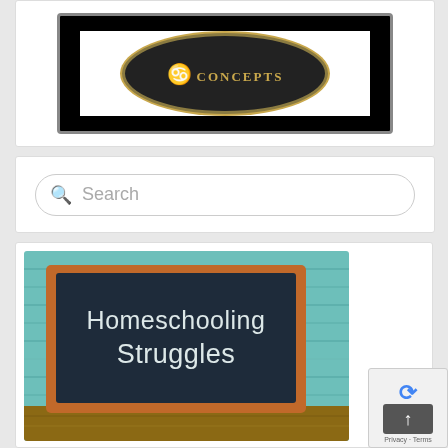[Figure (logo): Circular badge/logo with 'CONCEPTS' text in gold on dark background, framed by black border]
[Figure (other): Search bar widget with magnifying glass icon and placeholder text 'Search']
[Figure (photo): Photo of a wooden chalkboard leaning against a teal/aqua painted wood wall, with 'Homeschooling Struggles' written in chalk]
[Figure (other): reCAPTCHA badge and back-to-top scroll button overlay in bottom right corner with 'Privacy' and 'Terms' links]